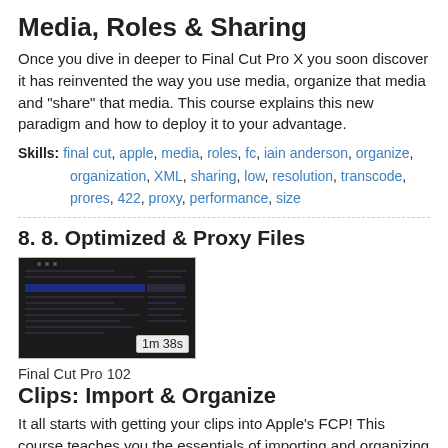Media, Roles & Sharing
Once you dive in deeper to Final Cut Pro X you soon discover it has reinvented the way you use media, organize that media and "share" that media. This course explains this new paradigm and how to deploy it to your advantage.
Skills: final cut, apple, media, roles, fc, iain anderson, organize, organization, XML, sharing, low, resolution, transcode, prores, 422, proxy, performance, size
8. 8. Optimized & Proxy Files
[Figure (screenshot): Dark video thumbnail showing a software interface screen with a time duration badge reading '1m 38s']
Final Cut Pro 102
Clips: Import & Organize
It all starts with getting your clips into Apple's FCP! This course teaches you the essentials of importing and organizing your clips to make your editing workflow a breeze!
Skills: final cut, apple, import, organize, organization,